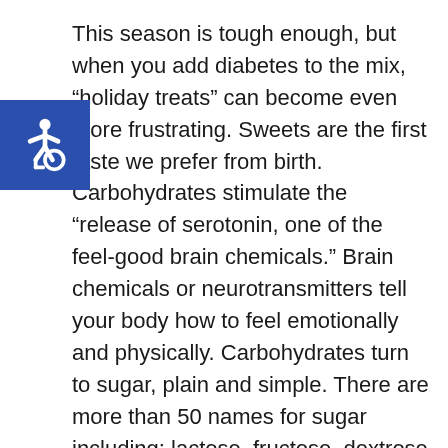[Figure (logo): Blue square accessibility icon with white wheelchair symbol]
This season is tough enough, but when you add diabetes to the mix, "holiday treats" can become even more frustrating. Sweets are the first taste we prefer from birth. Carbohydrates stimulate the "release of serotonin, one of the feel-good brain chemicals." Brain chemicals or neurotransmitters tell your body how to feel emotionally and physically. Carbohydrates turn to sugar, plain and simple. There are more than 50 names for sugar including: lactose, fructose, dextrose and maltose.
Eating too much sugar does not cause diabetes, but eventually it causes weight gain which leads to insulin resistance and possible type 2 diabetes. Not all carbohydrates are equal since whole grains, fruits and starchy, vegetables have fiber which slows the breakdown into sugar and prevents